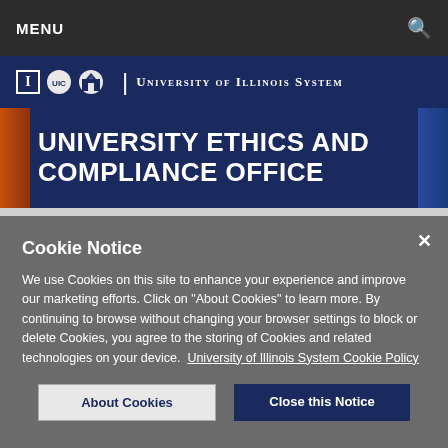MENU
University of Illinois System
UNIVERSITY ETHICS AND COMPLIANCE OFFICE
Cookie Notice
We use Cookies on this site to enhance your experience and improve our marketing efforts. Click on "About Cookies" to learn more. By continuing to browse without changing your browser settings to block or delete Cookies, you agree to the storing of Cookies and related technologies on your device.  University of Illinois System Cookie Policy